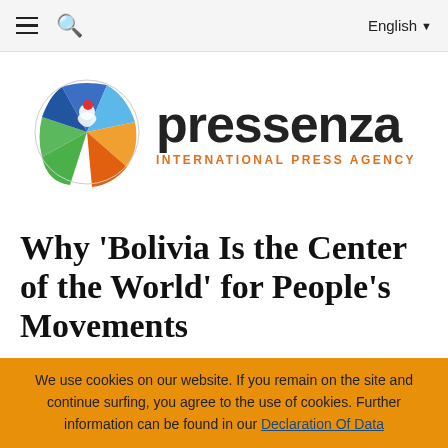≡  🔍     English ▾
[Figure (logo): Pressenza International Press Agency logo: a colorful globe-like circular icon on the left, with 'pressenza' in large bold dark text and 'INTERNATIONAL PRESS AGENCY' in orange caps below]
Why 'Bolivia Is the Center of the World' for People's Movements
21.05.22 - Bolivia - Independent Media Institute
We use cookies on our website. If you remain on the site and continue surfing, you agree to the use of cookies. Further information can be found in our Declaration Of Data